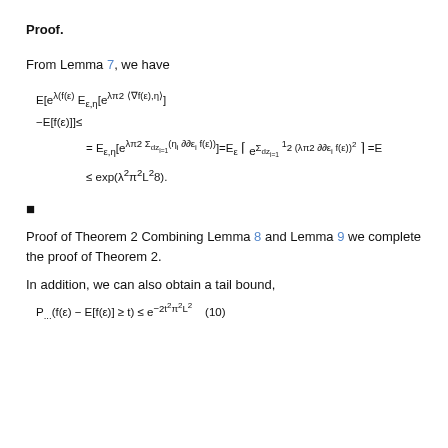Proof.
From Lemma 7, we have
■
Proof of Theorem 2 Combining Lemma 8 and Lemma 9 we complete the proof of Theorem 2.
In addition, we can also obtain a tail bound,